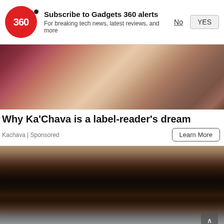[Figure (screenshot): Gadgets 360 push notification prompt with red circular logo showing '360', bold text 'Subscribe to Gadgets 360 alerts', subtitle 'For breaking tech news, latest reviews, and more', with 'No' (underlined) and 'YES' buttons]
[Figure (photo): Photo of a woman with blonde hair holding a beige/tan container (Ka'Chava product), wearing a maroon patterned top]
Why Ka'Chava is a label-reader's dream
Kachava | Sponsored
[Figure (photo): Photo of a young man with dark hair and well-groomed eyebrows, close-up portrait, with blurred background showing lights]